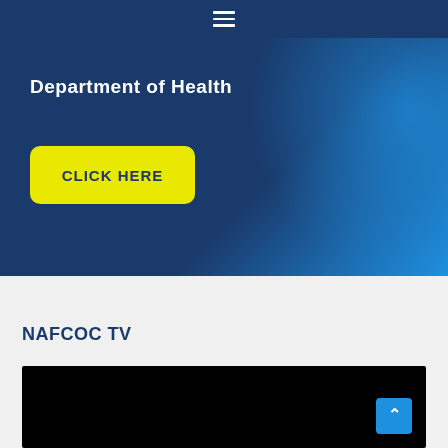≡ (navigation menu)
Department of Health
[Figure (screenshot): Yellow button with text CLICK HERE on a dark blue gradient banner background]
NAFCOC TV
[Figure (screenshot): Black video embed placeholder for NAFCOC TV content]